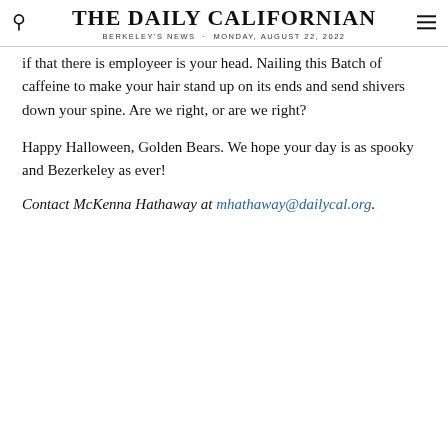THE DAILY CALIFORNIAN · BERKELEY'S NEWS · MONDAY, AUGUST 22, 2022
if that there is employeer is your head. Nailing this Batch of caffeine to make your hair stand up on its ends and send shivers down your spine. Are we right, or are we right?
Happy Halloween, Golden Bears. We hope your day is as spooky and Bezerkeley as ever!
Contact McKenna Hathaway at mhathaway@dailycal.org.